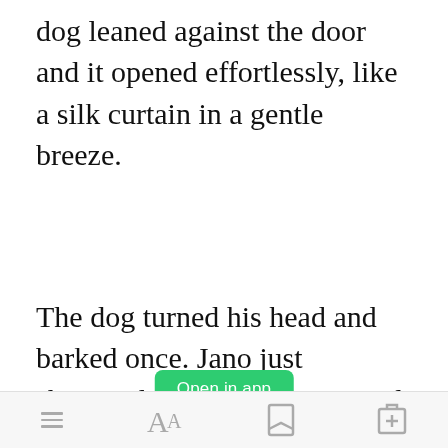dog leaned against the door and it opened effortlessly, like a silk curtain in a gentle breeze.
The dog turned his head and barked once. Jano just shrugged and walked over and then through the doorway. Jano entered the School Of The Right starting his new life at that moment.
[Figure (screenshot): Green 'Open in app' button overlay]
His worldly possessions in one
Bottom navigation bar with menu, font size, bookmark, and share icons